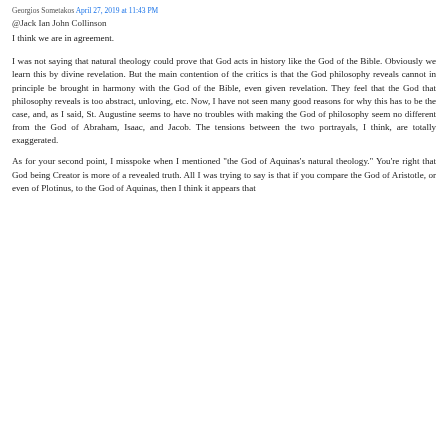Georgios Sometakos April 27, 2019 at 11:43 PM
@Jack Ian John Collinson
I think we are in agreement.
I was not saying that natural theology could prove that God acts in history like the God of the Bible. Obviously we learn this by divine revelation. But the main contention of the critics is that the God philosophy reveals cannot in principle be brought in harmony with the God of the Bible, even given revelation. They feel that the God that philosophy reveals is too abstract, unloving, etc. Now, I have not seen many good reasons for why this has to be the case, and, as I said, St. Augustine seems to have no troubles with making the God of philosophy seem no different from the God of Abraham, Isaac, and Jacob. The tensions between the two portrayals, I think, are totally exaggerated.
As for your second point, I misspoke when I mentioned "the God of Aquinas's natural theology." You're right that God being Creator is more of a revealed truth. All I was trying to say is that if you compare the God of Aristotle, or even of Plotinus, to the God of Aquinas, then I think it appears that